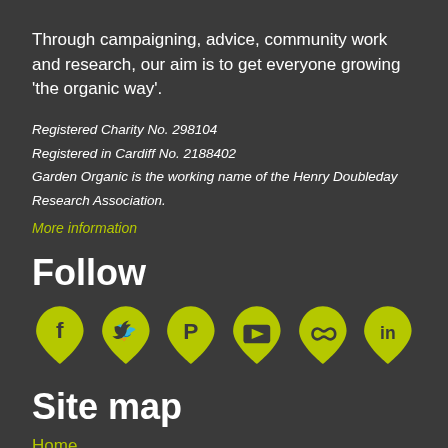Through campaigning, advice, community work and research, our aim is to get everyone growing 'the organic way'.
Registered Charity No. 298104
Registered in Cardiff No. 2188402
Garden Organic is the working name of the Henry Doubleday Research Association.
More information
Follow
[Figure (infographic): Six social media icons in yellow-green teardrop/droplet shapes: Facebook, Twitter, Pinterest, YouTube, Flickr (infinity), LinkedIn]
Site map
Home
Advice
Our Work